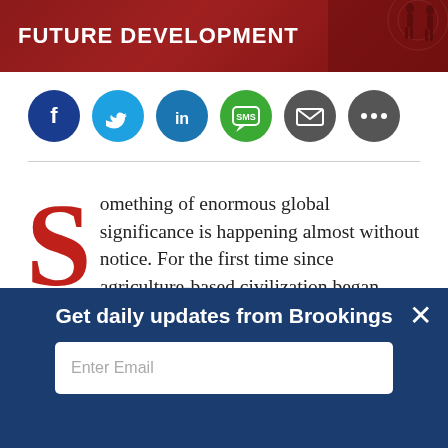FUTURE DEVELOPMENT
[Figure (illustration): Social sharing icon buttons: Facebook (dark blue), Twitter (light blue), LinkedIn (blue), SMS (green), Email (dark gray), More (dark gray)]
Something of enormous global significance is happening almost without notice. For the first time since agriculture-based civilization began 10,000 years ago, the majority of
Get daily updates from Brookings
Enter Email